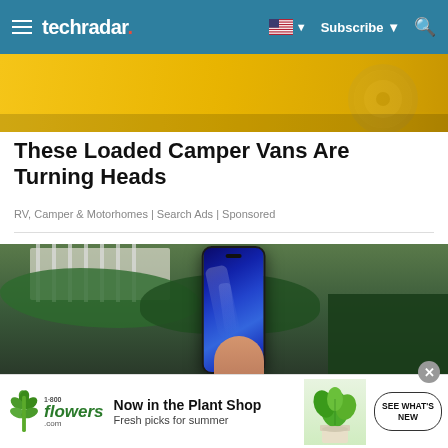techradar | Subscribe | Search
[Figure (photo): Partial view of a yellow camper van with a chrome wheel visible, photographed from above/side angle]
These Loaded Camper Vans Are Turning Heads
RV, Camper & Motorhomes | Search Ads | Sponsored
[Figure (photo): A person's hand holding a smartphone with a blue/dark screen, outdoors in a garden with green hedges and a white fence in the background]
[Figure (infographic): 1-800-flowers.com advertisement banner: Now in the Plant Shop - Fresh picks for summer, with plant image and SEE WHAT'S NEW button]